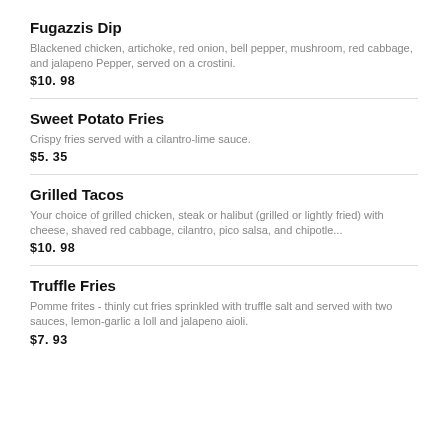Fugazzis Dip
Blackened chicken, artichoke, red onion, bell pepper, mushroom, red cabbage, and jalapeno Pepper, served on a crostini.
$10. 98
Sweet Potato Fries
Crispy fries served with a cilantro-lime sauce.
$5. 35
Grilled Tacos
Your choice of grilled chicken, steak or halibut (grilled or lightly fried) with cheese, shaved red cabbage, cilantro, pico salsa, and chipotle...
$10. 98
Truffle Fries
Pomme frites - thinly cut fries sprinkled with truffle salt and served with two sauces, lemon-garlic a loll and jalapeno aioli.
$7. 93